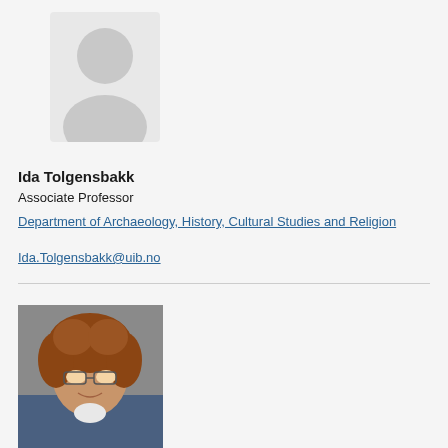[Figure (illustration): Gray placeholder silhouette of a person, headshot style with circular head and shoulder shape on light gray background]
Ida Tolgensbakk
Associate Professor
Department of Archaeology, History, Cultural Studies and Religion
Ida.Tolgensbakk@uib.no
[Figure (photo): Photo of a woman with curly reddish-brown hair, wearing glasses, smiling, in front of a gray background]